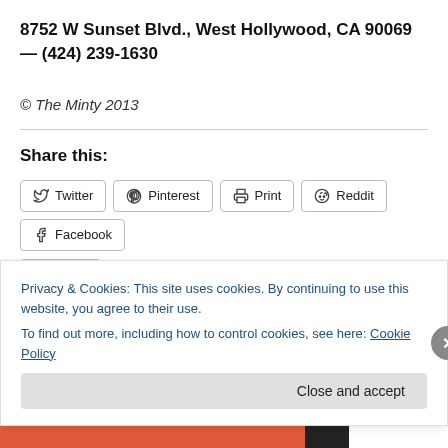8752 W Sunset Blvd., West Hollywood, CA 90069 — (424) 239-1630
© The Minty 2013
Share this:
Twitter  Pinterest  Print  Reddit  Facebook
Email
Privacy & Cookies: This site uses cookies. By continuing to use this website, you agree to their use.
To find out more, including how to control cookies, see here: Cookie Policy
Close and accept